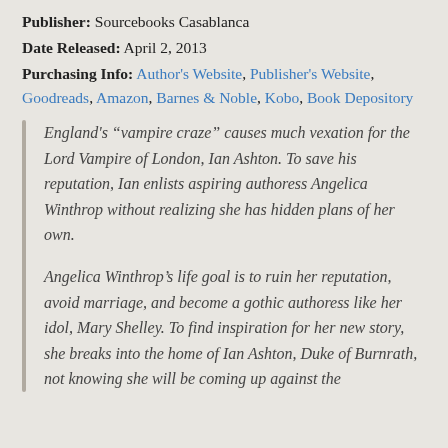Publisher: Sourcebooks Casablanca
Date Released: April 2, 2013
Purchasing Info: Author's Website, Publisher's Website, Goodreads, Amazon, Barnes & Noble, Kobo, Book Depository
England's “vampire craze” causes much vexation for the Lord Vampire of London, Ian Ashton. To save his reputation, Ian enlists aspiring authoress Angelica Winthrop without realizing she has hidden plans of her own.
Angelica Winthrop’s life goal is to ruin her reputation, avoid marriage, and become a gothic authoress like her idol, Mary Shelley. To find inspiration for her new story, she breaks into the home of Ian Ashton, Duke of Burnrath, not knowing she will be coming up against the